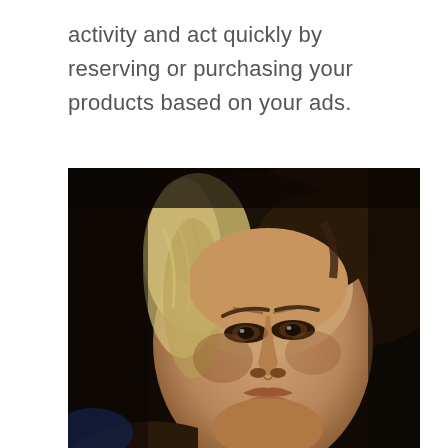activity and act quickly by reserving or purchasing your products based on your ads.
[Figure (photo): Close-up sepia-toned photograph of a man with medium-length brown and blonde-highlighted hair, furrowed brow, and an intense expression, looking slightly downward. Dark background with a hint of blue in the lower left corner.]